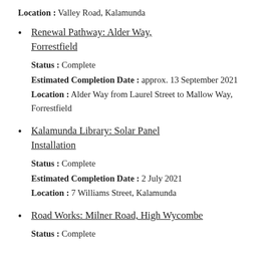Location : Valley Road, Kalamunda
Renewal Pathway: Alder Way, Forrestfield
Status : Complete
Estimated Completion Date : approx. 13 September 2021
Location : Alder Way from Laurel Street to Mallow Way, Forrestfield
Kalamunda Library: Solar Panel Installation
Status : Complete
Estimated Completion Date : 2 July 2021
Location : 7 Williams Street, Kalamunda
Road Works: Milner Road, High Wycombe
Status : Complete